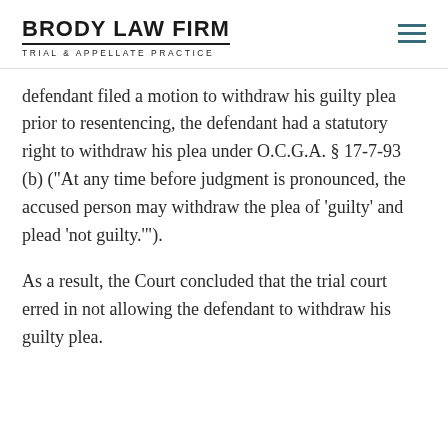BRODY LAW FIRM
TRIAL & APPELLATE PRACTICE
defendant filed a motion to withdraw his guilty plea prior to resentencing, the defendant had a statutory right to withdraw his plea under O.C.G.A. § 17-7-93 (b) (“At any time before judgment is pronounced, the accused person may withdraw the plea of ‘guilty’ and plead ‘not guilty.’”).
As a result, the Court concluded that the trial court erred in not allowing the defendant to withdraw his guilty plea.